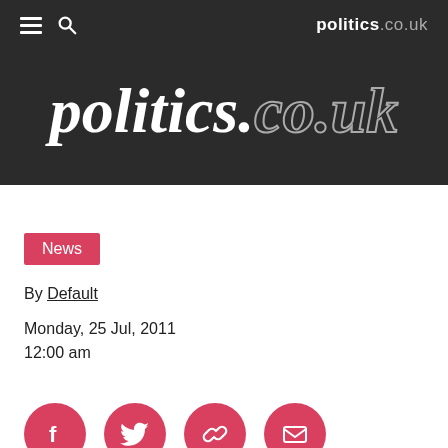politics.co.uk
[Figure (logo): politics.co.uk large logo in white serif italic text on dark background, with co.uk in outlined/stroked style]
News
By Default
Monday, 25 Jul, 2011
12:00 am
[Figure (infographic): Four red circular social share buttons: Facebook (f), Twitter (bird), Link (chain), Email (envelope)]